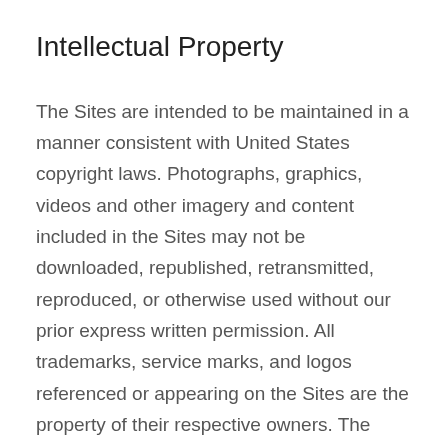Intellectual Property
The Sites are intended to be maintained in a manner consistent with United States copyright laws. Photographs, graphics, videos and other imagery and content included in the Sites may not be downloaded, republished, retransmitted, reproduced, or otherwise used without our prior express written permission. All trademarks, service marks, and logos referenced or appearing on the Sites are the property of their respective owners. The Sites’ content may not be used, copied, adapted, modified, distributed, licensed, sold, transferred, transmitted, streamed, broadcasted or otherwise exploited without our prior express